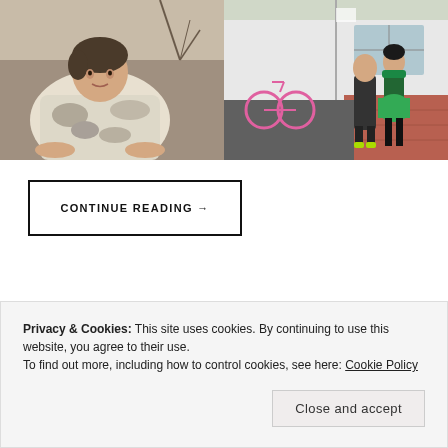[Figure (photo): Left photo: person crouching outdoors wearing a white/grey fur-like coat, natural outdoor background with rocks and bare branches]
[Figure (photo): Right photo: two people standing outside a building near a pink bicycle, one wearing a green skirt, the other in dark clothes with yellow-green shoes]
CONTINUE READING →
Privacy & Cookies: This site uses cookies. By continuing to use this website, you agree to their use.
To find out more, including how to control cookies, see here: Cookie Policy
Close and accept